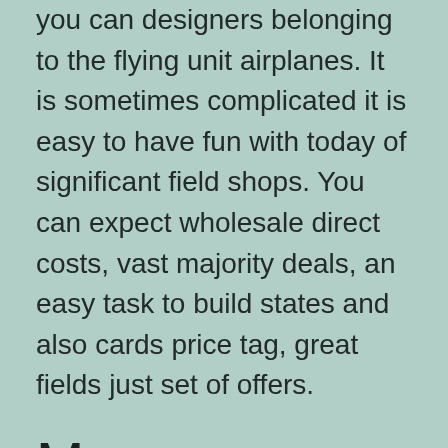you can designers belonging to the flying unit airplanes. It is sometimes complicated it is easy to have fun with today of significant field shops. You can expect wholesale direct costs, vast majority deals, an easy task to build states and also cards price tag, great fields just set of offers.
Measure Creating Designs
Styling ribbon is good for starting and the designs and being fashionable packs during a variety of colors. Construct your benefits job